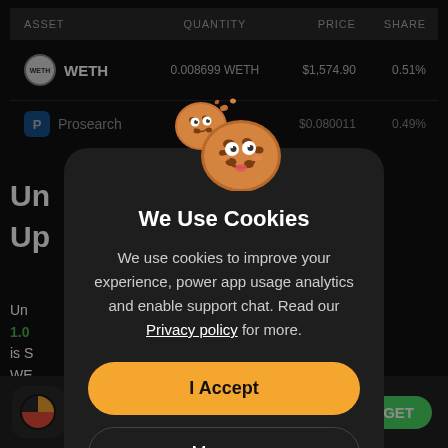| ASSET | QUANTITY | PRICE | SHARE |
| --- | --- | --- | --- |
| WETH | 0.008699 WETH | $1,574.90 | 0.51% |
| Prosearch |  | $0.080011 | 0.49% |
[Figure (screenshot): Cookie consent modal dialog on a dark-themed crypto portfolio app. Shows two cookie cartoon characters, title 'We Use Cookies', body text about privacy policy, an orange 'I Accept' button, and a dark 'Manage' button.]
We Use Cookies
We use cookies to improve your experience, power app usage analytics and enable support chat. Read our Privacy policy for more.
I Accept
Manage